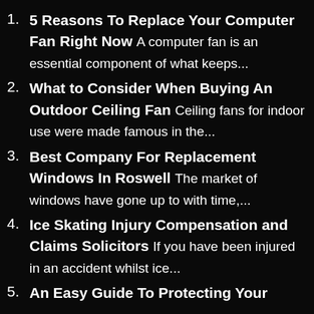5 Reasons To Replace Your Computer Fan Right Now A computer fan is an essential component of what keeps...
What to Consider When Buying An Outdoor Ceiling Fan Ceiling fans for indoor use were made famous in the...
Best Company For Replacement Windows In Roswell The market of windows have gone up to with time,...
Ice Skating Injury Compensation and Claims Solicitors If you have been injured in an accident whilst ice...
An Easy Guide To Protecting Your